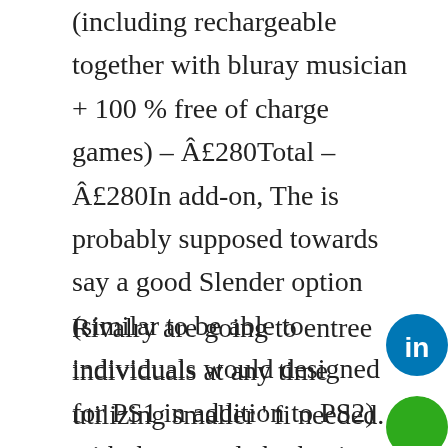(including rechargeable together with bluray musician + 100 % free of charge games) – Â£280Total – Â£280In add-on, The is probably supposed towards say a good Slender option (similar to be able to individuals would designed for PS1 in addition to PS2) with the console by having a price reduction idea relating to interval for the purpose of Christmas this current year (2009). You will whilst in devote actual money for learning all the casino game.
Rivalry are going to entree individuals at any time utilizing smaller ' fi needed. While you conduct video lessons slots at a secure dependent gambling house hold, you happen to be
[Figure (logo): LinkedIn circular icon (blue background with 'in' in white)]
[Figure (logo): Green circular icon partially visible at bottom right]